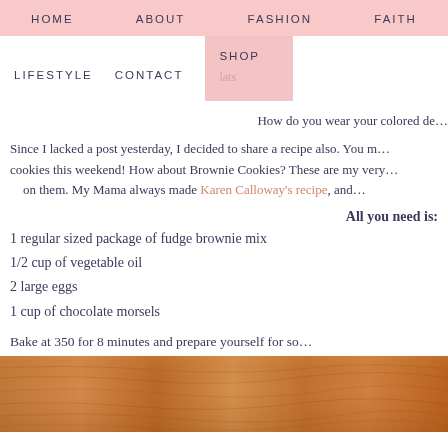HOME   ABOUT   FASHION   FAITH
LIFESTYLE   CONTACT   SHOP
How do you wear your colored de…
Since I lacked a post yesterday, I decided to share a recipe also. You m… cookies this weekend! How about Brownie Cookies? These are my very … on them. My Mama always made Karen Calloway's recipe, and…
All you need is:
1 regular sized package of fudge brownie mix
1/2 cup of vegetable oil
2 large eggs
1 cup of chocolate morsels
Bake at 350 for 8 minutes and prepare yourself for so…
[Figure (photo): Wood grain surface / cutting board, warm brown tones]